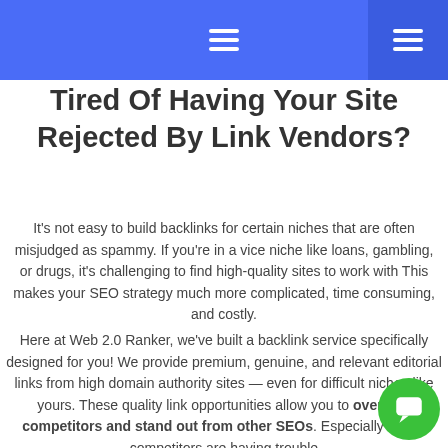[navigation header with hamburger menus]
Tired Of Having Your Site Rejected By Link Vendors?
It's not easy to build backlinks for certain niches that are often misjudged as spammy. If you're in a vice niche like loans, gambling, or drugs, it's challenging to find high-quality sites to work with This makes your SEO strategy much more complicated, time consuming, and costly.
Here at Web 2.0 Ranker, we've built a backlink service specifically designed for you! We provide premium, genuine, and relevant editorial links from high domain authority sites — even for difficult niches like yours. These quality link opportunities allow you to overtake competitors and stand out from other SEOs. Especially if your competitors are having trouble